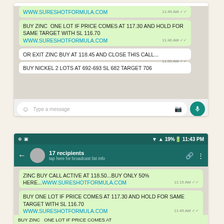[Figure (screenshot): WhatsApp chat screenshot (top): Messages on green bubbles reading: WWW.SURESHOTFORMULA.COM (11:45 AM), BUY ZINC ONE LOT IF PRICE COMES AT 117.30 AND HOLD FOR SAME TARGET WITH SL 116.70 WWW.SURESHOTFORMULA.COM (11:46 AM), OR EXIT ZINC BUY AT 118.45 AND CLOSE THIS CALL... (11:50 AM), BUY NICKEL 2 LOTS AT 692-693 SL 682 TARGET 706. WhatsApp input bar visible at bottom.]
[Figure (screenshot): WhatsApp chat screenshot (bottom): Status bar showing 19% battery, 11:43 PM. Header shows 17 recipients, tap here for broadcast list info. Chat messages: ZINC BUY CALL ACTIVE AT 118.50...BUY ONLY 50% HERE...WWW.SURESHOTFORMULA.COM (11:15 AM), BUY ONE LOT IF PRICE COMES AT 117.30 AND HOLD FOR SAME TARGET WITH SL 116.70 WWW.SURESHOTFORMULA.COM (11:45 AM). Partially visible next message at bottom.]